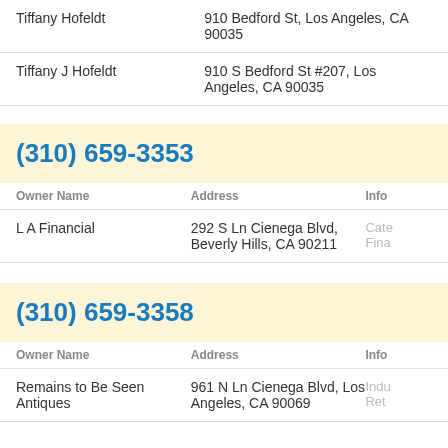| Owner Name | Address | Info |
| --- | --- | --- |
| Tiffany Hofeldt | 910 Bedford St, Los Angeles, CA 90035 |  |
| Tiffany J Hofeldt | 910 S Bedford St #207, Los Angeles, CA 90035 |  |
(310) 659-3353
| Owner Name | Address | Info |
| --- | --- | --- |
| L A Financial | 292 S Ln Cienega Blvd, Beverly Hills, CA 90211 | Cate... Fina... |
(310) 659-3358
| Owner Name | Address | Info |
| --- | --- | --- |
| Remains to Be Seen Antiques | 961 N Ln Cienega Blvd, Los Angeles, CA 90069 | Indu... Ret... |